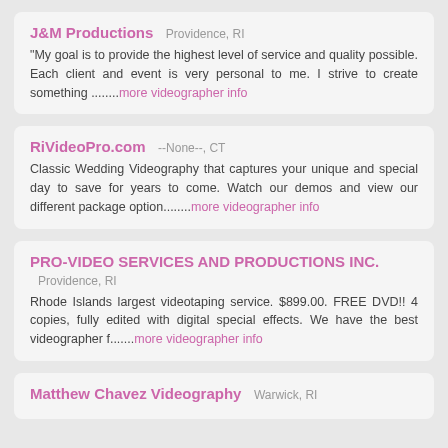J&M Productions  Providence, RI
"My goal is to provide the highest level of service and quality possible. Each client and event is very personal to me. I strive to create something .......more videographer info
RiVideoPro.com  --None--, CT
Classic Wedding Videography that captures your unique and special day to save for years to come. Watch our demos and view our different package option.......more videographer info
PRO-VIDEO SERVICES AND PRODUCTIONS INC.  Providence, RI
Rhode Islands largest videotaping service. $899.00. FREE DVD!! 4 copies, fully edited with digital special effects. We have the best videographer f.......more videographer info
Matthew Chavez Videography  Warwick, RI